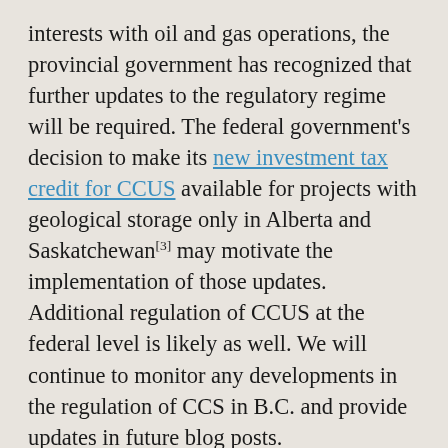interests with oil and gas operations, the provincial government has recognized that further updates to the regulatory regime will be required. The federal government's decision to make its new investment tax credit for CCUS available for projects with geological storage only in Alberta and Saskatchewan[3] may motivate the implementation of those updates. Additional regulation of CCUS at the federal level is likely as well. We will continue to monitor any developments in the regulation of CCS in B.C. and provide updates in future blog posts.
If you have any questions about CCUS or its